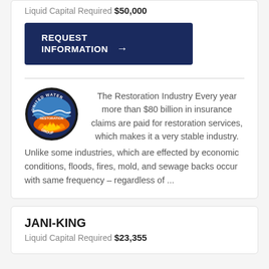Liquid Capital Required $50,000
REQUEST INFORMATION →
[Figure (logo): United Water Restoration Group circular logo with blue water and orange/red flames imagery]
The Restoration Industry Every year more than $80 billion in insurance claims are paid for restoration services, which makes it a very stable industry. Unlike some industries, which are effected by economic conditions, floods, fires, mold, and sewage backs occur with same frequency – regardless of ...
JANI-KING
Liquid Capital Required $23,355